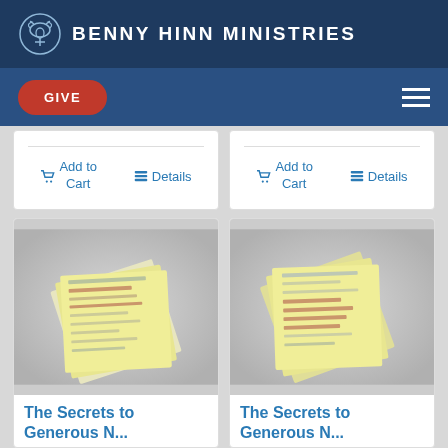BENNY HINN MINISTRIES
GIVE
Add to Cart
Details
Add to Cart
Details
[Figure (photo): Fanned yellow note cards with handwritten text and color highlights]
The Secrets to Generous N...
[Figure (photo): Fanned yellow note cards with handwritten text and color highlights]
The Secrets to Generous N...